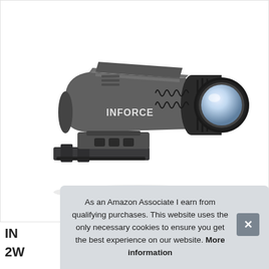[Figure (photo): Photo of an INFORCE brand tactical weapon flashlight/weapon light, gray and black body, mounted on a rail, with a large circular lens on the front right side. Brand logo 'INFORCE' visible on the body.]
IN
2W
As an Amazon Associate I earn from qualifying purchases. This website uses the only necessary cookies to ensure you get the best experience on our website. More information